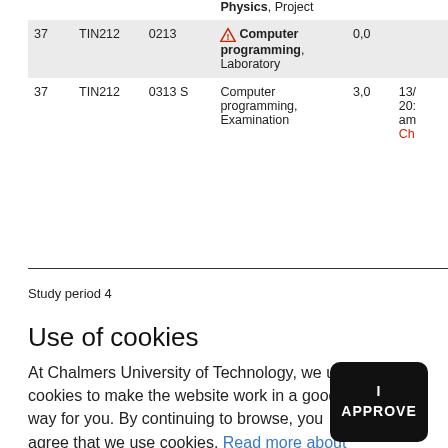| # | Course | ID | Name | Credits | Extra |
| --- | --- | --- | --- | --- | --- |
|  |  |  | Physics, Project |  |  |
| 37 | TIN212 | 0213 | Computer programming, Laboratory | 0,0 |  |
| 37 | TIN212 | 0313 S | Computer programming, Examination | 3,0 | 13/ 20: am Ch |
Study period 4
Use of cookies
At Chalmers University of Technology, we use cookies to make the website work in a good way for you. By continuing to browse, you agree that we use cookies. Read more about cookies.